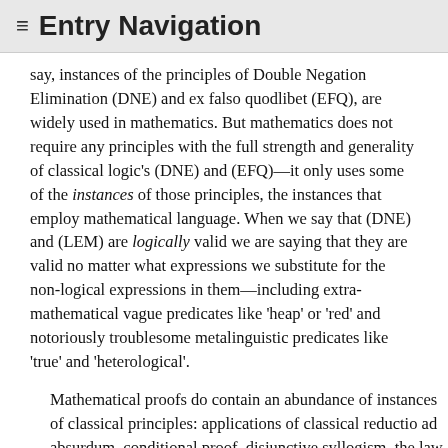≡  Entry Navigation
say, instances of the principles of Double Negation Elimination (DNE) and ex falso quodlibet (EFQ), are widely used in mathematics. But mathematics does not require any principles with the full strength and generality of classical logic's (DNE) and (EFQ)—it only uses some of the instances of those principles, the instances that employ mathematical language. When we say that (DNE) and (LEM) are logically valid we are saying that they are valid no matter what expressions we substitute for the non-logical expressions in them—including extra-mathematical vague predicates like 'heap' or 'red' and notoriously troublesome metalinguistic predicates like 'true' and 'heterological'.
Mathematical proofs do contain an abundance of instances of classical principles: applications of classical reductio ad absurdum, conditional proof, disjunctive syllogism, the law of absorption, etc. The emphasis, however, should be on the fact that these are instances of classical principles. The